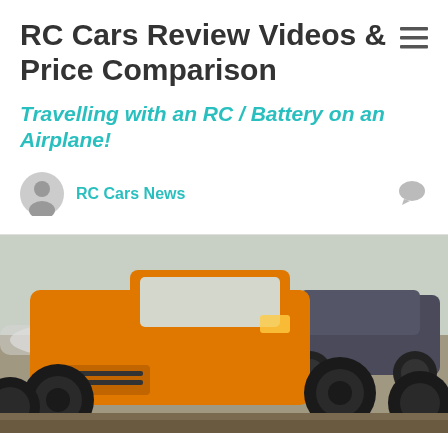RC Cars Review Videos & Price Comparison
Travelling with an RC / Battery on an Airplane!
RC Cars News
[Figure (photo): Two RC monster trucks outdoors in a snowy/muddy setting — an orange truck in the foreground and a dark/grey truck behind it, both with large knobby tires.]